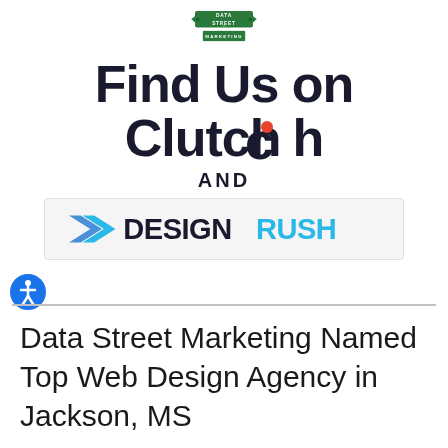[Figure (logo): Data Street Marketing promotional graphic showing 'Find Us on Clutch AND DesignRush' with street sign logo at top]
Data Street Marketing Named Top Web Design Agency in Jackson, MS